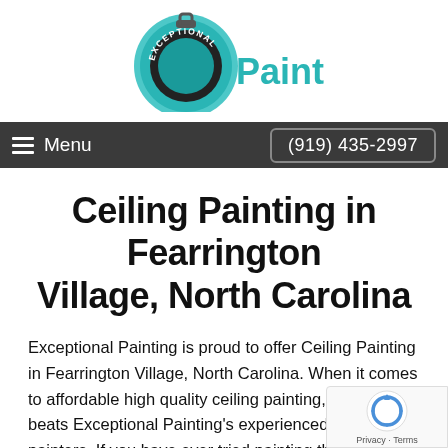[Figure (logo): Exceptional Painting logo with a paint can lid and teal/cyan color with the word Painting in dark teal]
Menu   (919) 435-2997
Ceiling Painting in Fearrington Village, North Carolina
Exceptional Painting is proud to offer Ceiling Painting in Fearrington Village, North Carolina. When it comes to affordable high quality ceiling painting, no one beats Exceptional Painting's experienced ceiling painters. If you have ever tried painting the ceiling of your Fearrington Village home or business, you know that its not an easy task. Ceiling Painting is labor-intensive work! The professional painting crew at Exceptional Painting is up for